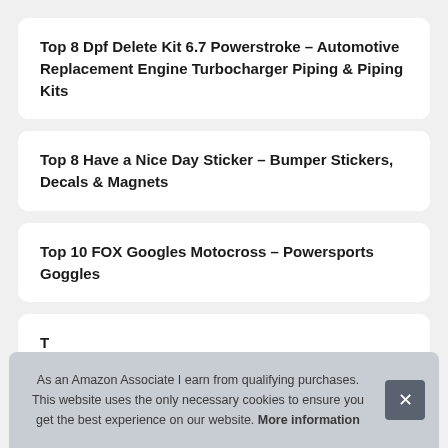Top 8 Dpf Delete Kit 6.7 Powerstroke – Automotive Replacement Engine Turbocharger Piping & Piping Kits
Top 8 Have a Nice Day Sticker – Bumper Stickers, Decals & Magnets
Top 10 FOX Googles Motocross – Powersports Goggles
T W (partial, cut off)
As an Amazon Associate I earn from qualifying purchases. This website uses the only necessary cookies to ensure you get the best experience on our website. More information